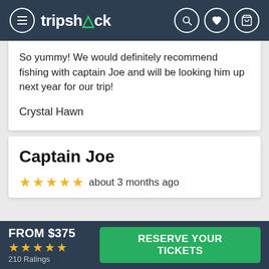tripshock
So yummy! We would definitely recommend fishing with captain Joe and will be looking him up next year for our trip!
Crystal Hawn
Captain Joe
★★★★★  about 3 months ago
FROM $375  ★★★★★  210 Ratings
RESERVE YOUR TICKETS